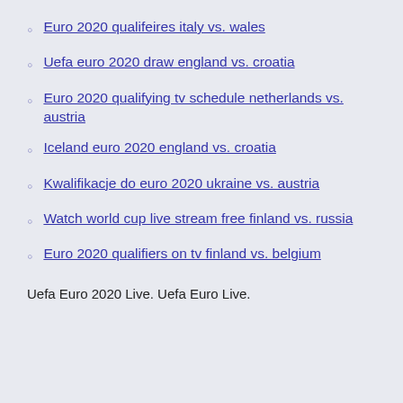Euro 2020 qualifeires italy vs. wales
Uefa euro 2020 draw england vs. croatia
Euro 2020 qualifying tv schedule netherlands vs. austria
Iceland euro 2020 england vs. croatia
Kwalifikacje do euro 2020 ukraine vs. austria
Watch world cup live stream free finland vs. russia
Euro 2020 qualifiers on tv finland vs. belgium
Uefa Euro 2020 Live. Uefa Euro Live.